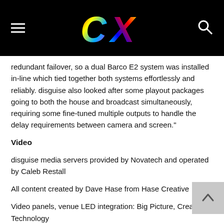CX
redundant failover, so a dual Barco E2 system was installed in-line which tied together both systems effortlessly and reliably. disguise also looked after some playout packages going to both the house and broadcast simultaneously, requiring some fine-tuned multiple outputs to handle the delay requirements between camera and screen."
Video
disguise media servers provided by Novatech and operated by Caleb Restall
All content created by Dave Hase from Hase Creative
Video panels, venue LED integration: Big Picture, Creative Technology
Video staging elements: Pro Stage Victoria
Audio